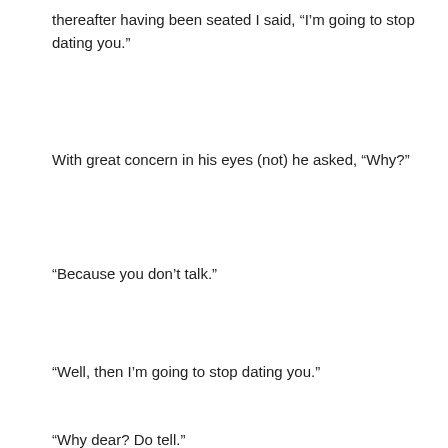thereafter having been seated I said, “I’m going to stop dating you.”
With great concern in his eyes (not) he asked, “Why?”
“Because you don’t talk.”
“Well, then I’m going to stop dating you.”
“Why dear? Do tell.”